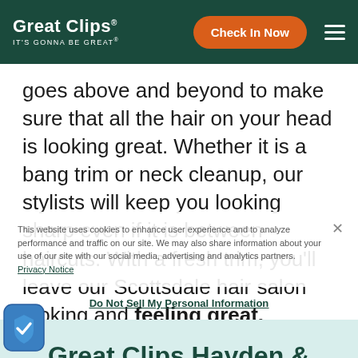Great Clips · IT'S GONNA BE GREAT · Check In Now
goes above and beyond to make sure that all the hair on your head is looking great. Whether it is a bang trim or neck cleanup, our stylists will keep you looking sharp even if it is between haircuts. With a fresh trim, you'll leave our Scottsdale hair salon looking and feeling great.
This website uses cookies to enhance user experience and to analyze performance and traffic on our site. We may also share information about your use of our site with our social media, advertising and analytics partners. Privacy Notice
Do Not Sell My Personal Information
Great Clips Hayden & Thompson Peak Pricing